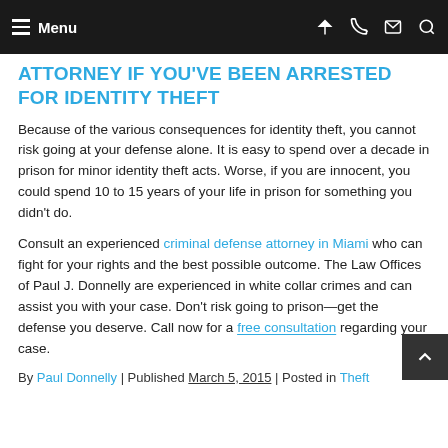Menu
ATTORNEY IF YOU'VE BEEN ARRESTED FOR IDENTITY THEFT
Because of the various consequences for identity theft, you cannot risk going at your defense alone. It is easy to spend over a decade in prison for minor identity theft acts. Worse, if you are innocent, you could spend 10 to 15 years of your life in prison for something you didn't do.
Consult an experienced criminal defense attorney in Miami who can fight for your rights and the best possible outcome. The Law Offices of Paul J. Donnelly are experienced in white collar crimes and can assist you with your case. Don't risk going to prison—get the defense you deserve. Call now for a free consultation regarding your case.
By Paul Donnelly | Published March 5, 2015 | Posted in Theft